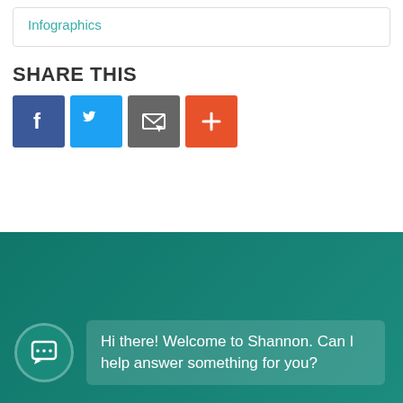Infographics
SHARE THIS
[Figure (infographic): Social share buttons: Facebook, Twitter, Email, and a More (+) button]
[Figure (screenshot): Teal footer with chat widget showing a chat bubble icon and text: Hi there! Welcome to Shannon. Can I help answer something for you?]
Hi there! Welcome to Shannon. Can I help answer something for you?